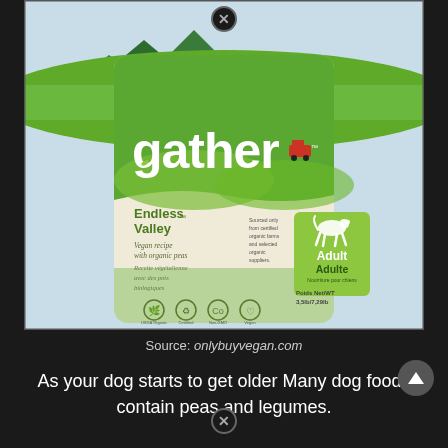[Figure (photo): Photo of a 'gather' brand dog food bag — 'Endless Valley' vegan recipe with organic peas. The bag features a green color scheme with an illustrated farm/valley landscape. Shows 'Adult / Adulte' life stage labeling, a dog silhouette, certification icons, and weight information.]
Source: onlybuyvegan.com
As your dog starts to get older Many dog foods contain peas and legumes.